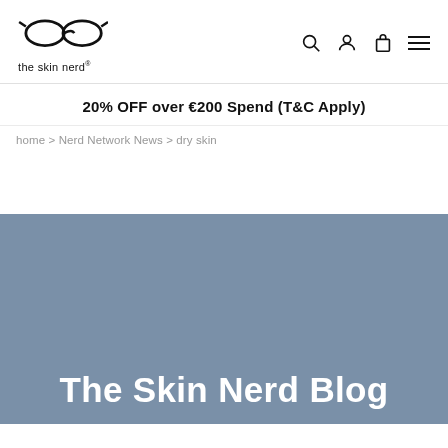the skin nerd®
20% OFF over €200 Spend (T&C Apply)
home > Nerd Network News > dry skin
[Figure (illustration): Blue-grey banner background section with 'The Skin Nerd Blog' text at the bottom]
The Skin Nerd Blog